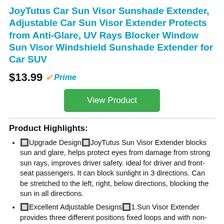JoyTutus Car Sun Visor Sunshade Extender, Adjustable Car Sun Visor Extender Protects from Anti-Glare, UV Rays Blocker Window Sun Visor Windshield Sunshade Extender for Car SUV
$13.99 Prime
View Product
Product Highlights:
🔲Upgrade Design🔲JoyTutus Sun Visor Extender blocks sun and glare, helps protect eyes from damage from strong sun rays, improves driver safety. ideal for driver and front-seat passengers. It can block sunlight in 3 directions. Can be stretched to the left, right, below directions, blocking the sun in all directions.
🔲Excellent Adjustable Designs🔲1.Sun Visor Extender provides three different positions fixed loops and with non-slip elastic belt, which can be adjusted to fit a variety of sun visor sizes, and compatible with any car